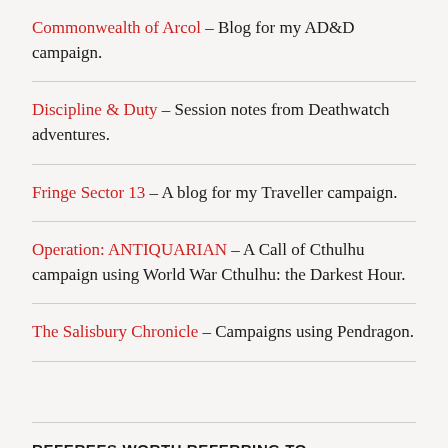Commonwealth of Arcol – Blog for my AD&D campaign.
Discipline & Duty – Session notes from Deathwatch adventures.
Fringe Sector 13 – A blog for my Traveller campaign.
Operation: ANTIQUARIAN – A Call of Cthulhu campaign using World War Cthulhu: the Darkest Hour.
The Salisbury Chronicle – Campaigns using Pendragon.
REFEREES WORTH REFERRING TO